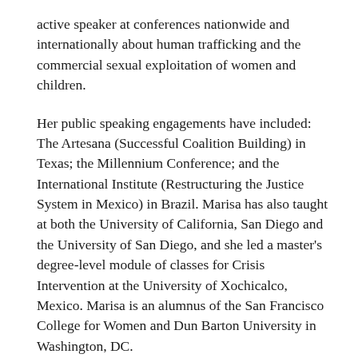active speaker at conferences nationwide and internationally about human trafficking and the commercial sexual exploitation of women and children.
Her public speaking engagements have included: The Artesana (Successful Coalition Building) in Texas; the Millennium Conference; and the International Institute (Restructuring the Justice System in Mexico) in Brazil. Marisa has also taught at both the University of California, San Diego and the University of San Diego, and she led a master's degree-level module of classes for Crisis Intervention at the University of Xochicalco, Mexico. Marisa is an alumnus of the San Francisco College for Women and Dun Barton University in Washington, DC.